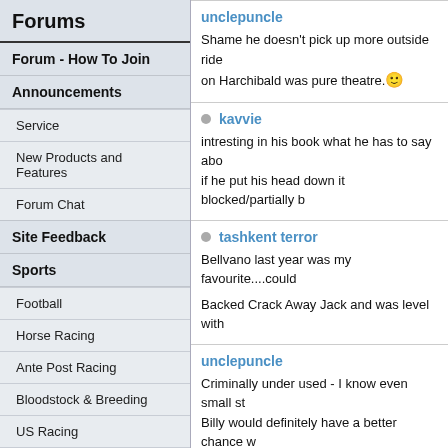Forums
Forum - How To Join
Announcements
Service
New Products and Features
Forum Chat
Site Feedback
Sports
Football
Horse Racing
Ante Post Racing
Bloodstock & Breeding
US Racing
Cheltenham Festival
Grand National
unclepuncle
Shame he doesn't pick up more outside ride on Harchibald was pure theatre. 😊
kavvie
intresting in his book what he has to say abo if he put his head down it blocked/partially b
tashkent terror
Bellvano last year was my favourite....could
Backed Crack Away Jack and was level with
unclepuncle
Criminally under used - I know even small st Billy would definitely have a better chance w
tornadobob
At least he'll be on Monbeg Dude in the GC. fence. One of the great rides ever, anywhere
bellfunk
He's on Kid Cassidy in the Johnny Henderso